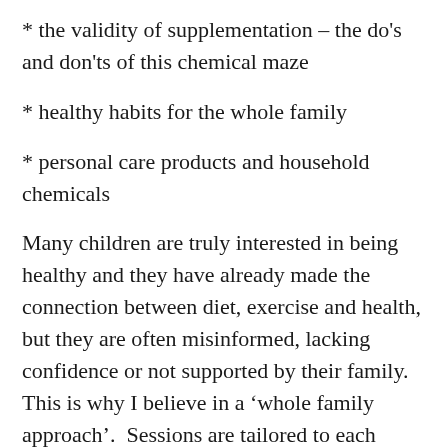* the validity of supplementation – the do's and don'ts of this chemical maze
* healthy habits for the whole family
* personal care products and household chemicals
Many children are truly interested in being healthy and they have already made the connection between diet, exercise and health, but they are often misinformed, lacking confidence or not supported by their family. This is why I believe in a 'whole family approach'.  Sessions are tailored to each family's needs.